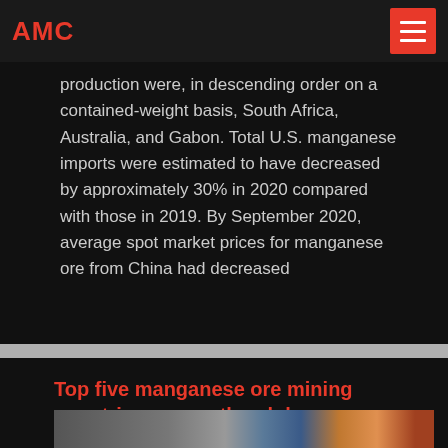AMC
production were, in descending order on a contained-weight basis, South Africa, Australia, and Gabon. Total U.S. manganese imports were estimated to have decreased by approximately 30% in 2020 compared with those in 2019. By September 2020, average spot market prices for manganese ore from China had decreased
Top five manganese ore mining countries across the globe
[Figure (photo): Industrial mining facility photograph showing mining equipment and structures]